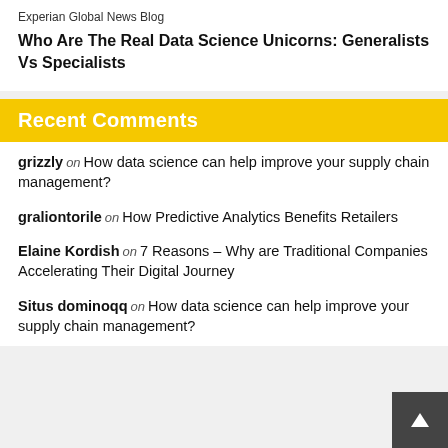Experian Global News Blog
Who Are The Real Data Science Unicorns: Generalists Vs Specialists
Recent Comments
grizzly on How data science can help improve your supply chain management?
graliontorile on How Predictive Analytics Benefits Retailers
Elaine Kordish on 7 Reasons – Why are Traditional Companies Accelerating Their Digital Journey
Situs dominoqq on How data science can help improve your supply chain management?